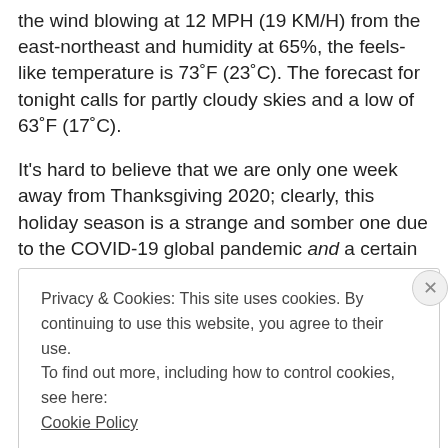the wind blowing at 12 MPH (19 KM/H) from the east-northeast and humidity at 65%, the feels-like temperature is 73°F (23°C). The forecast for tonight calls for partly cloudy skies and a low of 63°F (17°C).
It’s hard to believe that we are only one week away from Thanksgiving 2020; clearly, this holiday season is a strange and somber one due to the COVID-19 global pandemic and a certain petulant man-child
Privacy & Cookies: This site uses cookies. By continuing to use this website, you agree to their use.
To find out more, including how to control cookies, see here: Cookie Policy
Close and accept